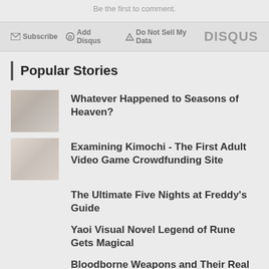Be the first to comment.
✉ Subscribe  ⓓ Add Disqus  ⚠ Do Not Sell My Data   DISQUS
Popular Stories
Whatever Happened to Seasons of Heaven?
Examining Kimochi - The First Adult Video Game Crowdfunding Site
The Ultimate Five Nights at Freddy's Guide
Yaoi Visual Novel Legend of Rune Gets Magical
Bloodborne Weapons and Their Real Life